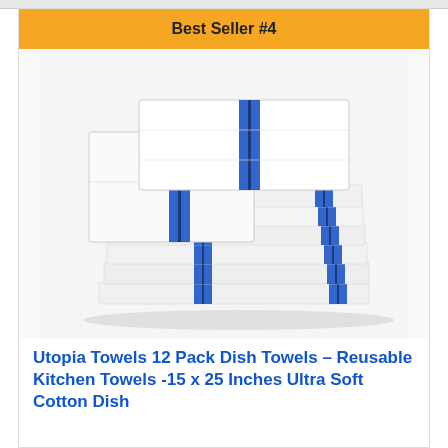Best Seller #4
[Figure (photo): Stack of white kitchen dish towels with blue stripes, folded and piled on top of each other, showing approximately 12 towels.]
Utopia Towels 12 Pack Dish Towels – Reusable Kitchen Towels -15 x 25 Inches Ultra Soft Cotton Dish